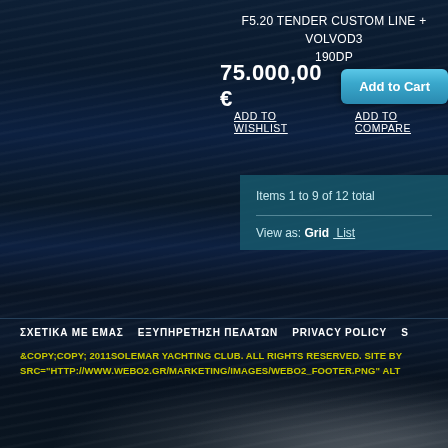F5.20 TENDER CUSTOM LINE + VOLVOD3 190DP
75.000,00 €
Add to Cart
ADD TO WISHLIST   ADD TO COMPARE
Items 1 to 9 of 12 total
View as: Grid List
ΣΧΕΤΙΚΑ ΜΕ ΕΜΑΣ   ΕΞΥΠΗΡΕΤΗΣΗ ΠΕΛΑΤΩΝ   PRIVACY POLICY   S
&COPY;COPY; 2011SOLEMAR YACHTING CLUB. ALL RIGHTS RESERVED. SITE BY SRC="HTTP://WWW.WEBO2.GR/MARKETING/IMAGES/WEBO2_FOOTER.PNG" ALT